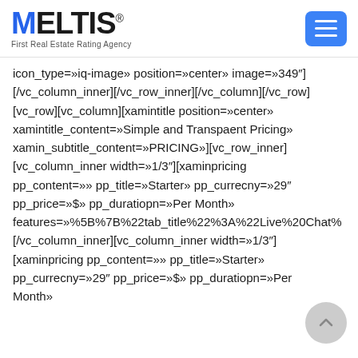[Figure (logo): MELTIS - First Real Estate Rating Agency logo with blue M letter and navigation menu button]
icon_type=»iq-image» position=»center» image=»349"] [/vc_column_inner][/vc_row_inner][/vc_column][/vc_row] [vc_row][vc_column][xamintitle position=»center» xamintitle_content=»Simple and Transpaent Pricing» xamin_subtitle_content=»PRICING»][vc_row_inner] [vc_column_inner width=»1/3"][xaminpricing pp_content=»» pp_title=»Starter» pp_currecny=»29″ pp_price=»$» pp_duratiopn=»Per Month» features=»%5B%7B%22tab_title%22%3A%22Live%20Chat% [/vc_column_inner][vc_column_inner width=»1/3"] [xaminpricing pp_content=»» pp_title=»Starter» pp_currecny=»29″ pp_price=»$» pp_duratiopn=»Per Month»